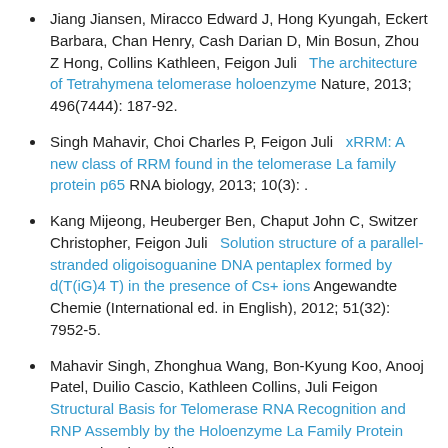Jiang Jiansen, Miracco Edward J, Hong Kyungah, Eckert Barbara, Chan Henry, Cash Darian D, Min Bosun, Zhou Z Hong, Collins Kathleen, Feigon Juli   The architecture of Tetrahymena telomerase holoenzyme Nature, 2013; 496(7444): 187-92.
Singh Mahavir, Choi Charles P, Feigon Juli   xRRM: A new class of RRM found in the telomerase La family protein p65 RNA biology, 2013; 10(3): .
Kang Mijeong, Heuberger Ben, Chaput John C, Switzer Christopher, Feigon Juli   Solution structure of a parallel-stranded oligoisoguanine DNA pentaplex formed by d(T(iG)4 T) in the presence of Cs+ ions Angewandte Chemie (International ed. in English), 2012; 51(32): 7952-5.
Mahavir Singh, Zhonghua Wang, Bon-Kyung Koo, Anooj Patel, Duilio Cascio, Kathleen Collins, Juli Feigon   Structural Basis for Telomerase RNA Recognition and RNP Assembly by the Holoenzyme La Family Protein p65 Molecular Cell,